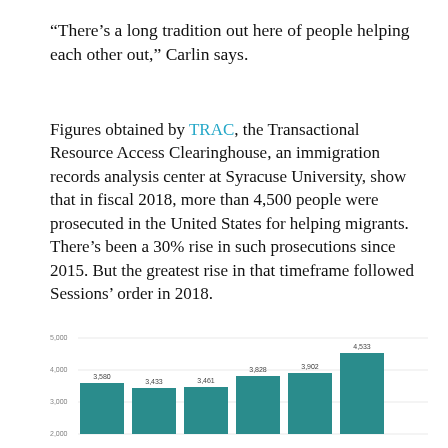“There’s a long tradition out here of people helping each other out,” Carlin says.
Figures obtained by TRAC, the Transactional Resource Access Clearinghouse, an immigration records analysis center at Syracuse University, show that in fiscal 2018, more than 4,500 people were prosecuted in the United States for helping migrants. There’s been a 30% rise in such prosecutions since 2015. But the greatest rise in that timeframe followed Sessions’ order in 2018.
[Figure (bar-chart): ]